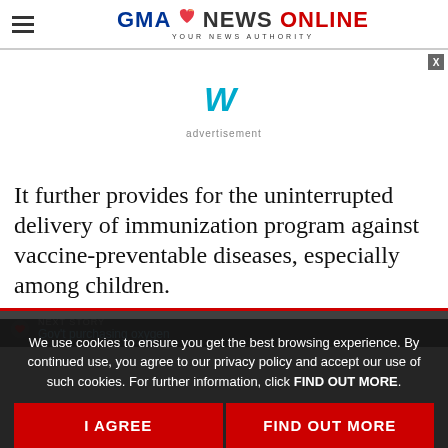GMA NEWS ONLINE — YOUR NEWS AUTHORITY
[Figure (screenshot): Advertisement area with Weatherbug logo (W icon in teal) and 'advertisement' label, with X close button]
It further provides for the uninterrupted delivery of immunization program against vaccine-preventable diseases, especially among children.
We use cookies to ensure you get the best browsing experience. By continued use, you agree to our privacy policy and accept our use of such cookies. For further information, click FIND OUT MORE.
I AGREE
FIND OUT MORE